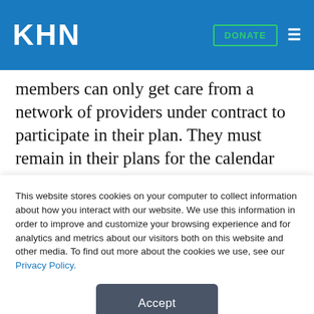KHN
members can only get care from a network of providers under contract to participate in their plan. They must remain in their plans for the calendar year, with some rare exceptions, but losing their doctor has not been among the permitted reasons.
But if certain conditions are met, officials at the
Centers for Medicare & Medicaid Services will create
This website stores cookies on your computer to collect information about how you interact with our website. We use this information in order to improve and customize your browsing experience and for analytics and metrics about our visitors both on this website and other media. To find out more about the cookies we use, see our Privacy Policy.